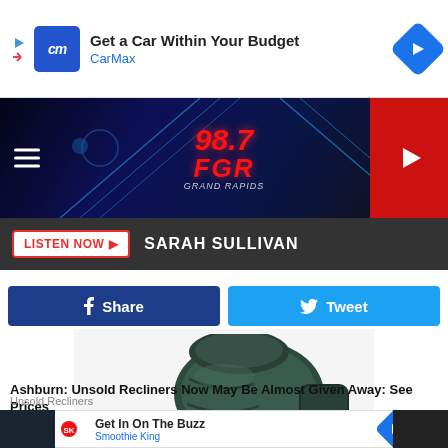[Figure (screenshot): CarMax advertisement banner with logo and 'Get a Car Within Your Budget' text]
[Figure (screenshot): 98.7 FGR Grand Rapids radio station banner with blue neon lights background]
LISTEN NOW ▶   SARAH SULLIVAN
[Figure (screenshot): Facebook Share button and Twitter Tweet button]
[Figure (photo): Dark green leather recliner chair in reclined position]
Ashburn: Unsold Recliners Now May Be Almost Given Away: See Prices
Unsold Recliners
[Figure (screenshot): Smoothie King advertisement: Get In On The Buzz]